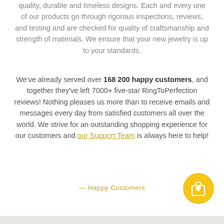quality, durable and timeless designs. Each and every one of our products go through rigorous inspections, reviews, and testing and are checked for quality of craftsmanship and strength of materials. We ensure that your new jewelry is up to your standards.
We've already served over 168 200 happy customers, and together they've left 7000+ five-star RingToPerfection reviews! Nothing pleases us more than to receive emails and messages every day from satisfied customers all over the world. We strive for an outstanding shopping experience for our customers and our Support Team is always here to help!
— Happy Customers
[Figure (illustration): Yellow circular button with a shopping bag and heart icon]